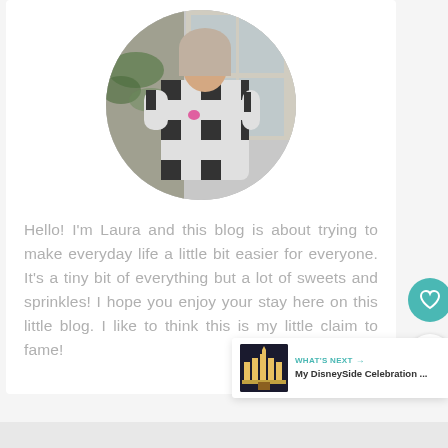[Figure (photo): Circular profile photo of a woman wearing a black and white buffalo check/plaid dress standing in front of a door]
Hello! I'm Laura and this blog is about trying to make everyday life a little bit easier for everyone. It's a tiny bit of everything but a lot of sweets and sprinkles! I hope you enjoy your stay here on this little blog. I like to think this is my little claim to fame!
WHAT'S NEXT → My DisneySide Celebration ...